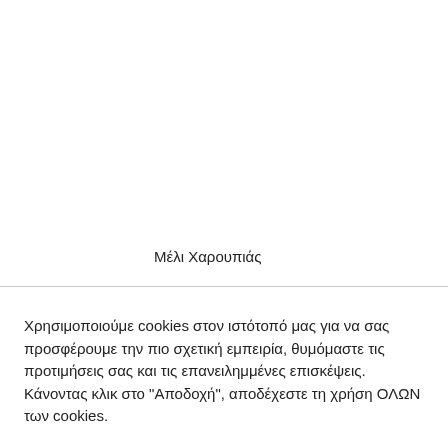Μέλι Χαρουπιάς
Χρησιμοποιούμε cookies στον ιστότοπό μας για να σας προσφέρουμε την πιο σχετική εμπειρία, θυμόμαστε τις προτιμήσεις σας και τις επανειλημμένες επισκέψεις. Κάνοντας κλικ στο "Αποδοχή", αποδέχεστε τη χρήση ΟΛΩΝ των cookies.
Ρυθμίσεις Cookie
ΑΠΟΔΟΧΗ